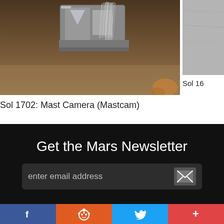[Figure (photo): Mars rover camera image showing mechanical arm/brush instrument close-up against brownish Mars surface background (Sol 1702 Mastcam)]
[Figure (photo): Partial Mars surface image, gray/silver textured surface (Sol 16x)]
Sol 1702: Mast Camera (Mastcam)
Sol 16
Get the Mars Newsletter
enter email address
[Figure (infographic): Social share bar with Facebook, Reddit, Twitter, and share (+) buttons]